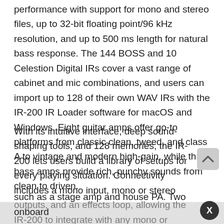performance with support for mono and stereo files, up to 32-bit floating point/96 kHz resolution, and up to 500 ms length for natural bass response. The 144 BOSS and 10 Celestion Digital IRs cover a vast range of cabinet and mic combinations, and users can import up to 128 of their own WAV IRs with the IR-200 IR Loader software for macOS and Windows. Eight guitar amps offer go-to platforms from classic clean, tweed, and class A to vintage and modern high-gain, while three bass amps provide rich, punchy sounds from clean to driven.
With its intuitive interface, deep sound-shaping tools, and 128 memories, the IR-200 lets users build a library of setups for every playing situation. Connectivity includes a mono input, mono or stereo outputs, and an effects loop, allowing the IR-200 to integrate with any mono or stereo pedal setup. Two IRs can be used at once, and it's possible to feed independent signals to different destinations, such as a stage amp and house PA. Two onboard